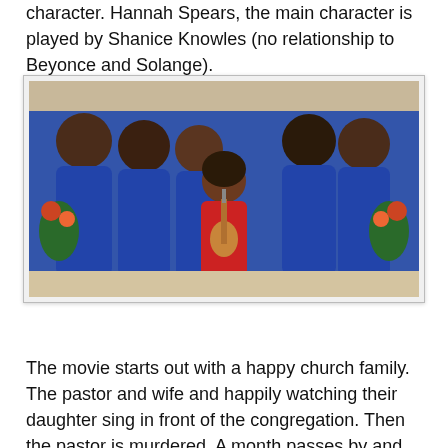character. Hannah Spears, the main character is played by Shanice Knowles (no relationship to Beyonce and Solange).
[Figure (photo): A woman in a red dress playing guitar and singing, standing in front of a group of people wearing blue choir robes.]
The movie starts out with a happy church family. The pastor and wife and happily watching their daughter sing in front of the congregation. Then the pastor is murdered. A month passes by and the Hannah has become an alcoholic who is driving while intoxicated. She's also mad that everyone is trying to move on so soon after her father's death. She's hurt, drinking, and stumbles upon a video her father made. In it he's confessing that he thought his life was in danger and the person he was afraid of was his co-pastor. In the midst of watching the video she spills alcohol all over her laptop and the flash drive the video was saved on. That's when she runs to her friend for help. She was drunk so she doesn't remember what was on the flash drive or if is she really saw a video, but she wants her friend to fix it so they can see